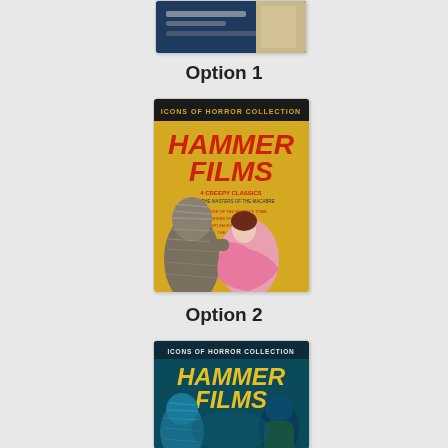[Figure (illustration): Partial view of a DVD cover at top of page, cropped — appears to be a horror/action film cover]
Option 1
[Figure (illustration): Icons of Horror Collection: Hammer Films — 4 Creepy Classics DVD cover with yellow background, showing a mummy creature carrying a woman in pink dress]
Option 2
[Figure (illustration): Icons of Horror Collection: Hammer Films — alternate DVD cover with dark teal/blue background, showing horror creature figures, partially visible at bottom of page]